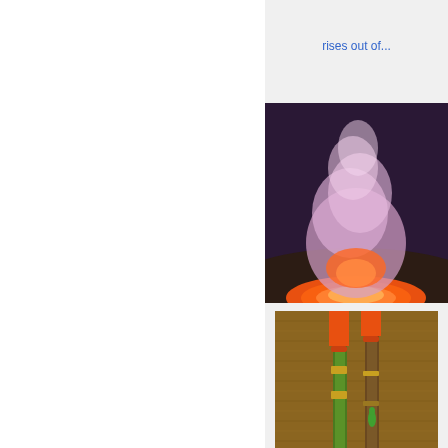rises out of...
[Figure (photo): A colorful glowing plume of smoke and lava rising from a volcanic crater at dusk, with orange and pink glow and purple smoke.]
MKR0490.JPG
A colorful glowing plume of smoke rises out of...
[Figure (photo): Two decorated bamboo or wooden poles with orange tops standing against a brown fibrous background, with small green decorations.]